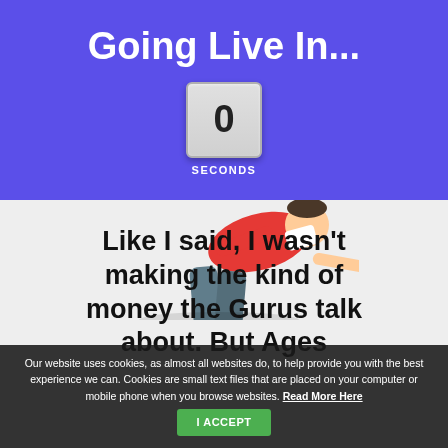Going Live In...
[Figure (other): Countdown timer showing 0 seconds in a flip-clock style box with label SECONDS below]
[Figure (illustration): Cartoon illustration of a person lying flat on the ground, wearing a red shirt and grey pants with brown shoes, appearing to have fallen over]
Like I said, I wasn't making the kind of money the Gurus talk about. But Ages
Our website uses cookies, as almost all websites do, to help provide you with the best experience we can. Cookies are small text files that are placed on your computer or mobile phone when you browse websites. Read More Here
I ACCEPT